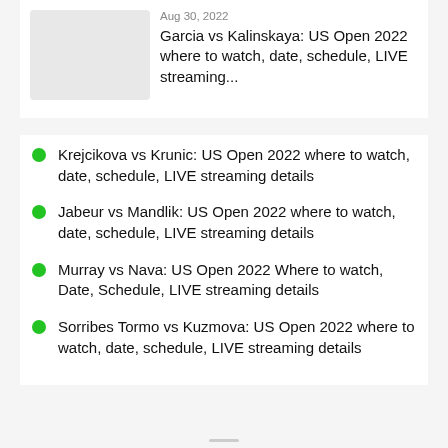[Figure (photo): Thumbnail image placeholder (grey box)]
Aug 30, 2022
Garcia vs Kalinskaya: US Open 2022 where to watch, date, schedule, LIVE streaming...
Krejcikova vs Krunic: US Open 2022 where to watch, date, schedule, LIVE streaming details
Jabeur vs Mandlik: US Open 2022 where to watch, date, schedule, LIVE streaming details
Murray vs Nava: US Open 2022 Where to watch, Date, Schedule, LIVE streaming details
Sorribes Tormo vs Kuzmova: US Open 2022 where to watch, date, schedule, LIVE streaming details